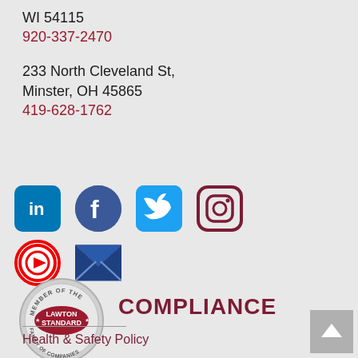WI 54115
920-337-2470
233 North Cleveland St,
Minster, OH 45865
419-628-1762
[Figure (infographic): Social media icons: LinkedIn, Facebook, Twitter, Instagram (top row); YouTube, Email (bottom row)]
[Figure (logo): Lawton Standard Member of the Family of Companies badge/seal]
COMPLIANCE
Health & Safety Policy